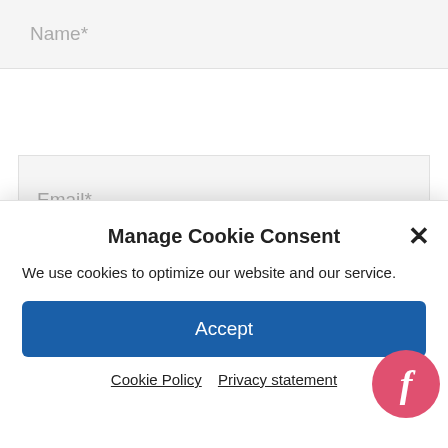Name*
Email*
Website
Post Comment »
Manage Cookie Consent
We use cookies to optimize our website and our service.
Accept
Cookie Policy   Privacy statement